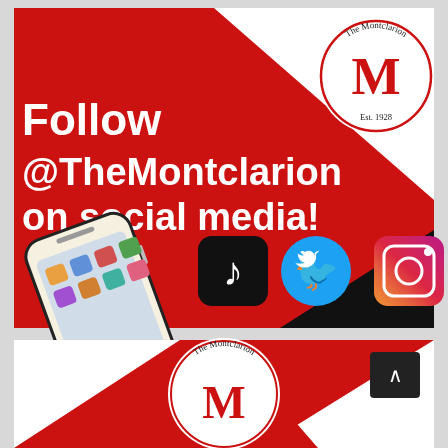[Figure (infographic): Red promotional banner for The Montclarion newspaper asking followers to follow @TheMontclarion on social media, featuring TikTok, Twitter, Instagram, and Facebook icons, a smartphone illustration, and The Montclarion logo (M with Est. 1928). Bottom portion shows a second partial banner with the same logo.]